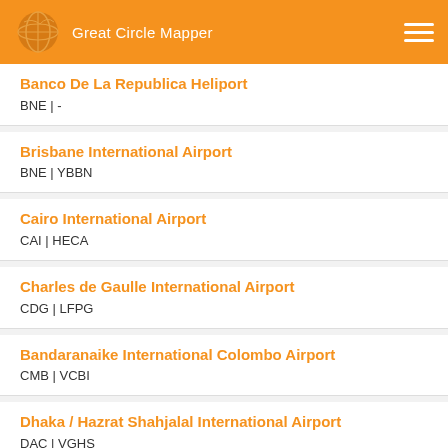Great Circle Mapper
Banco De La Republica Heliport | BNE | -
Brisbane International Airport | BNE | YBBN
Cairo International Airport | CAI | HECA
Charles de Gaulle International Airport | CDG | LFPG
Bandaranaike International Colombo Airport | CMB | VCBI
Dhaka / Hazrat Shahjalal International Airport | DAC | VGHS
Indira Gandhi International Airport | DEL | VIDP